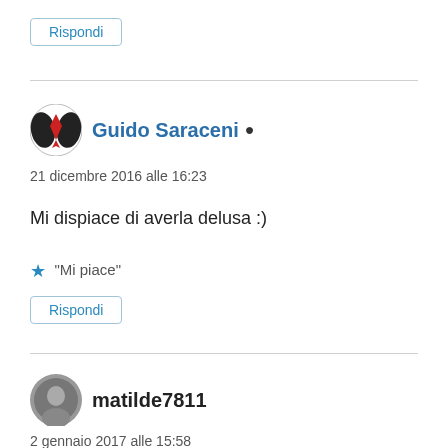Rispondi (button)
Guido Saraceni
21 dicembre 2016 alle 16:23
Mi dispiace di averla delusa :)
"Mi piace"
Rispondi (button)
matilde7811
2 gennaio 2017 alle 15:58